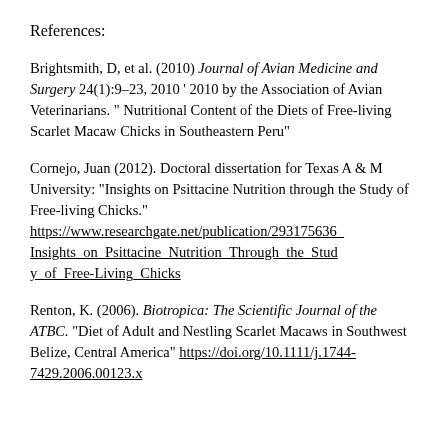References:
Brightsmith, D, et al. (2010) Journal of Avian Medicine and Surgery 24(1):9–23, 2010 ' 2010 by the Association of Avian Veterinarians. " Nutritional Content of the Diets of Free-living Scarlet Macaw Chicks in Southeastern Peru"
Cornejo, Juan (2012). Doctoral dissertation for Texas A & M University: "Insights on Psittacine Nutrition through the Study of Free-living Chicks." https://www.researchgate.net/publication/293175636_Insights_on_Psittacine_Nutrition_Through_the_Study_of_Free-Living_Chicks
Renton, K. (2006). Biotropica: The Scientific Journal of the ATBC. "Diet of Adult and Nestling Scarlet Macaws in Southwest Belize, Central America" https://doi.org/10.1111/j.1744-7429.2006.00123.x